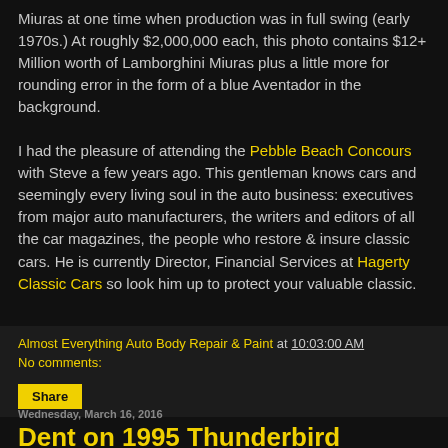Miuras at one time when production was in full swing (early 1970s.) At roughly $2,000,000 each, this photo contains $12+ Million worth of Lamborghini Miuras plus a little more for rounding error in the form of a blue Aventador in the background.

I had the pleasure of attending the Pebble Beach Concours with Steve a few years ago. This gentleman knows cars and seemingly every living soul in the auto business: executives from major auto manufacturers, the writers and editors of all the car magazines, the people who restore & insure classic cars. He is currently Director, Financial Services at Hagerty Classic Cars so look him up to protect your valuable classic.
Almost Everything Auto Body Repair & Paint at 10:03:00 AM
No comments:
Share
Wednesday, March 16, 2016
Dent on 1995 Thunderbird